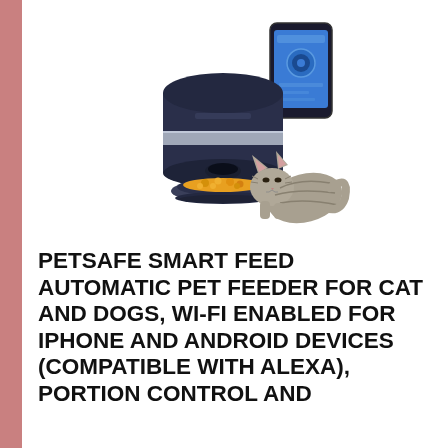[Figure (photo): A PetSafe Smart Feed automatic pet feeder (dark navy cylindrical device with steel band) with a food bowl filled with orange kibble in front, a tabby cat eating from the bowl, and a smartphone showing the PetSafe app displayed to the upper right of the feeder.]
PETSAFE SMART FEED AUTOMATIC PET FEEDER FOR CAT AND DOGS, WI-FI ENABLED FOR IPHONE AND ANDROID DEVICES (COMPATIBLE WITH ALEXA), PORTION CONTROL AND